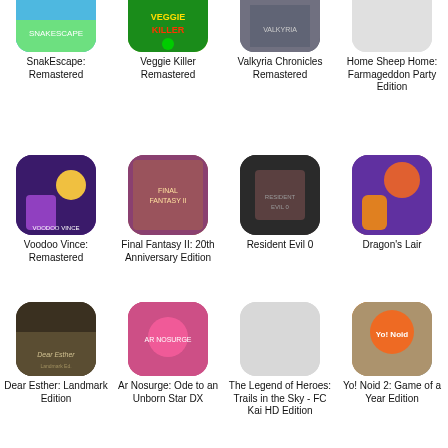[Figure (screenshot): App store grid showing game icons and titles in 4 columns and 3 rows]
SnakEscape: Remastered
Veggie Killer Remastered
Valkyria Chronicles Remastered
Home Sheep Home: Farmageddon Party Edition
Voodoo Vince: Remastered
Final Fantasy II: 20th Anniversary Edition
Resident Evil 0
Dragon's Lair
Dear Esther: Landmark Edition
Ar Nosurge: Ode to an Unborn Star DX
The Legend of Heroes: Trails in the Sky - FC Kai HD Edition
Yo! Noid 2: Game of a Year Edition